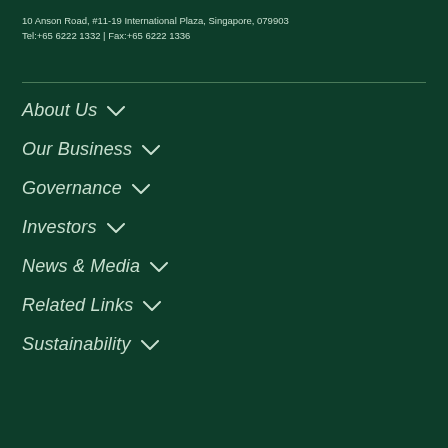10 Anson Road, #11-19 International Plaza, Singapore, 079903
Tel:+65 6222 1332 | Fax:+65 6222 1336
About Us
Our Business
Governance
Investors
News & Media
Related Links
Sustainability